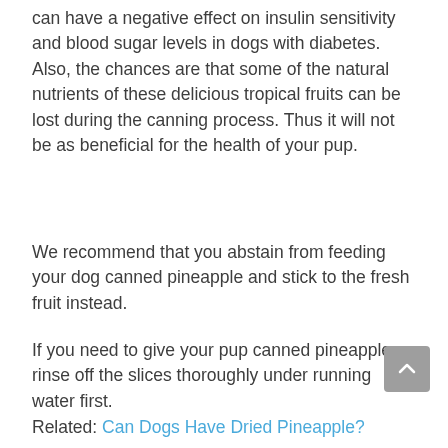can have a negative effect on insulin sensitivity and blood sugar levels in dogs with diabetes. Also, the chances are that some of the natural nutrients of these delicious tropical fruits can be lost during the canning process. Thus it will not be as beneficial for the health of your pup.
We recommend that you abstain from feeding your dog canned pineapple and stick to the fresh fruit instead.
If you need to give your pup canned pineapple, rinse off the slices thoroughly under running water first.
Related: Can Dogs Have Dried Pineapple?